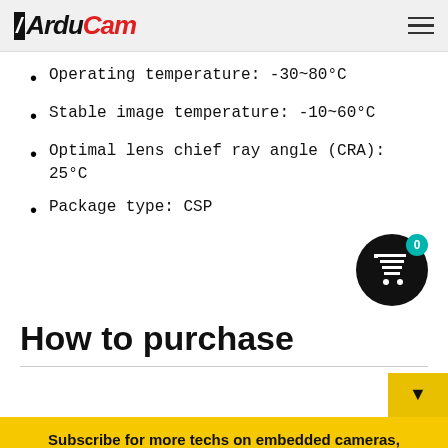ArduCam
Operating temperature: -30~80°C
Stable image temperature: -10~60°C
Optimal lens chief ray angle (CRA): 25°C
Package type: CSP
[Figure (illustration): Shopping cart icon in black circle with teal badge showing 0]
How to purchase
Subscribe for more techs on embedded cameras, sensors, and systems
Your email address..
SUBSCRIBE